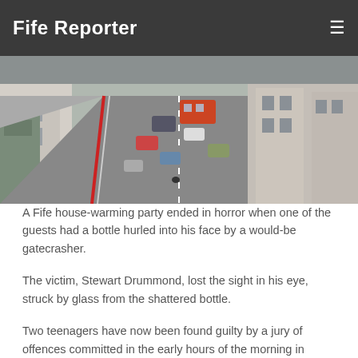Fife Reporter
[Figure (photo): Aerial view of a busy high street with traffic, cars, buses, and buildings on both sides — likely Cowdenbeath High Street.]
A Fife house-warming party ended in horror when one of the guests had a bottle hurled into his face by a would-be gatecrasher.
The victim, Stewart Drummond, lost the sight in his eye, struck by glass from the shattered bottle.
Two teenagers have now been found guilty by a jury of offences committed in the early hours of the morning in Cowdenbeath High Street.